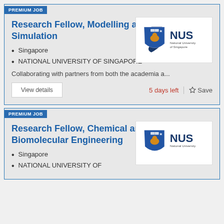PREMIUM JOB
Research Fellow, Modelling and Simulation
Singapore
NATIONAL UNIVERSITY OF SINGAPORE
[Figure (logo): NUS National University of Singapore logo]
Collaborating with partners from both the academia a...
View details | 5 days left | Save
PREMIUM JOB
Research Fellow, Chemical and Biomolecular Engineering
Singapore
NATIONAL UNIVERSITY OF
[Figure (logo): NUS National University of Singapore logo]